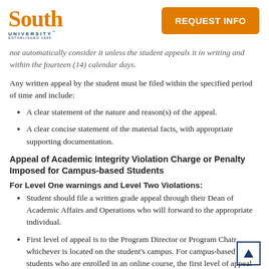South University | REQUEST INFO
not automatically consider it unless the student appeals it in writing and within the fourteen (14) calendar days.
Any written appeal by the student must be filed within the specified period of time and include:
A clear statement of the nature and reason(s) of the appeal.
A clear concise statement of the material facts, with appropriate supporting documentation.
Appeal of Academic Integrity Violation Charge or Penalty Imposed for Campus-based Students
For Level One warnings and Level Two Violations:
Student should file a written grade appeal through their Dean of Academic Affairs and Operations who will forward to the appropriate individual.
First level of appeal is to the Program Director or Program Chair, whichever is located on the student's campus. For campus-based students who are enrolled in an online course, the first level of appeal